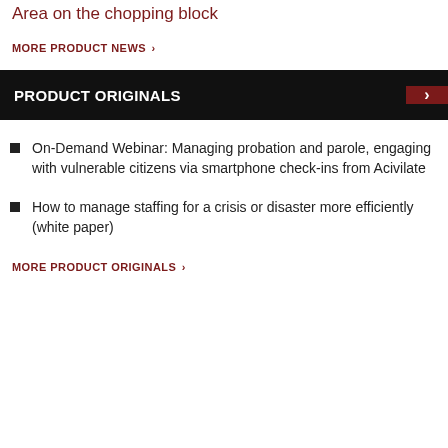Area on the chopping block
MORE PRODUCT NEWS >
PRODUCT ORIGINALS
On-Demand Webinar: Managing probation and parole, engaging with vulnerable citizens via smartphone check-ins from Acivilate
How to manage staffing for a crisis or disaster more efficiently (white paper)
MORE PRODUCT ORIGINALS >